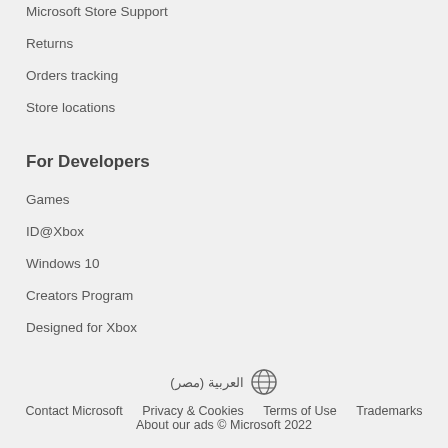Microsoft Store Support
Returns
Orders tracking
Store locations
For Developers
Games
ID@Xbox
Windows 10
Creators Program
Designed for Xbox
العربية (مصر)
Contact Microsoft   Privacy & Cookies   Terms of Use   Trademarks   About our ads   © Microsoft 2022